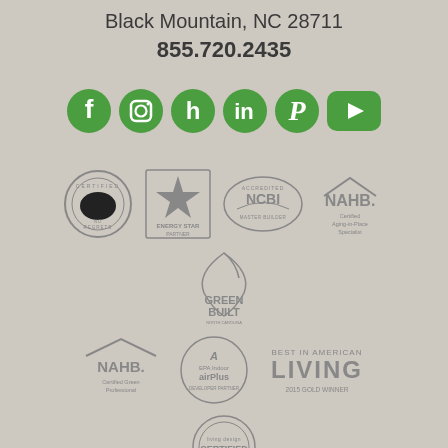Black Mountain, NC 28711
855.720.2435
[Figure (logo): Social media icons: Facebook, Instagram, Houzz, LinkedIn, Pinterest, YouTube — all in green]
[Figure (logo): Certification logos: No Regrets Certified, Energy Star Partner, NCBI Accredited Master Builder, NAHB Certified Aging-in-Place Specialist, Green Built North Carolina, NAHB Certified Green Professional, EPA Indoor airPlus Development Partner, Living Best in American Living 2015 Gold Winner, Living Design Certified]